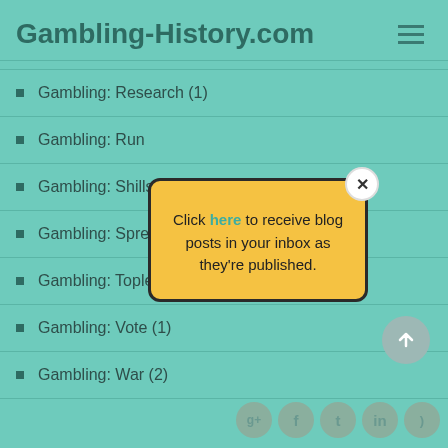Gambling-History.com
Gambling: Research (1)
Gambling: Run
Gambling: Shills
Gambling: Spre
[Figure (screenshot): Popup modal with yellow background. Text reads: Click here to receive blog posts in your inbox as they're published. Has a close (X) button in top-right corner.]
Gambling: Topless (1)
Gambling: Vote (1)
Gambling: War (2)